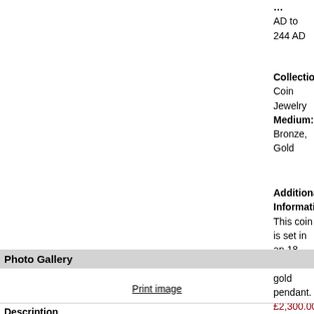AD to 244 AD
Collection: Coin Jewelry Medium: Bronze, Gold
Additional Information: This coin is set in an 18-karat gold pendant. £2,300.00 Location: UAE
Photo Gallery
Print image
Description